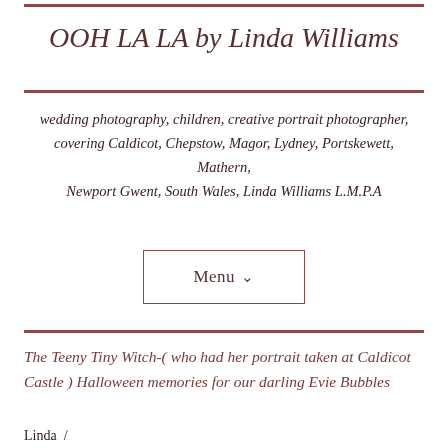OOH LA LA by Linda Williams
wedding photography, children, creative portrait photographer, covering Caldicot, Chepstow, Magor, Lydney, Portskewett, Mathern, Newport Gwent, South Wales, Linda Williams L.M.P.A
The Teeny Tiny Witch-( who had her portrait taken at Caldicot Castle ) Halloween memories for our darling Evie Bubbles
Linda /